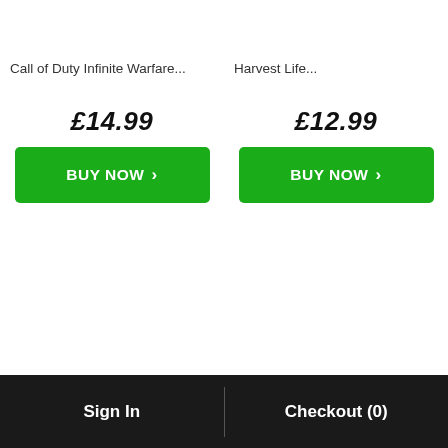Call of Duty Infinite Warfare...
Harvest Life...
£14.99
BUY NOW ›
£12.99
BUY NOW ›
Sign In   Checkout (0)